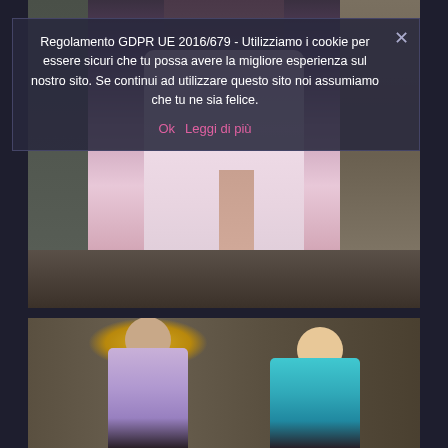[Figure (photo): Fashion photo: a model wearing a dark top and flowing light pink maxi dress with a high slit, standing in a dark ornate room with wooden paneled doors]
[Figure (photo): Fashion photo: two female models in an ornate room with a golden chandelier; left model wears a lavender outfit, right model wears a turquoise/blue outfit]
Regolamento GDPR UE 2016/679 - Utilizziamo i cookie per essere sicuri che tu possa avere la migliore esperienza sul nostro sito. Se continui ad utilizzare questo sito noi assumiamo che tu ne sia felice.
Ok   Leggi di più